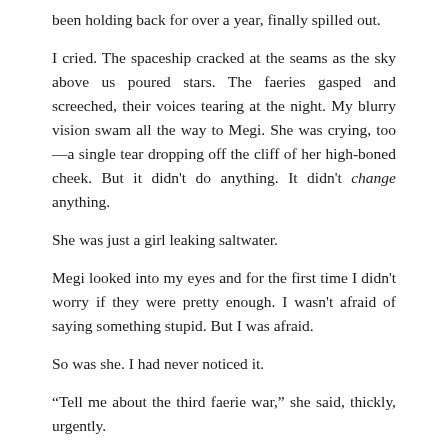been holding back for over a year, finally spilled out.
I cried. The spaceship cracked at the seams as the sky above us poured stars. The faeries gasped and screeched, their voices tearing at the night. My blurry vision swam all the way to Megi. She was crying, too—a single tear dropping off the cliff of her high-boned cheek. But it didn't do anything. It didn't change anything.
She was just a girl leaking saltwater.
Megi looked into my eyes and for the first time I didn't worry if they were pretty enough. I wasn't afraid of saying something stupid. But I was afraid.
So was she. I had never noticed it.
“Tell me about the third faerie war,” she said, thickly, urgently.
I could see what she was doing now—what she was